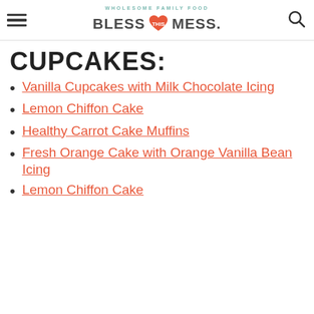WHOLESOME FAMILY FOOD — BLESS THIS MESS.
CUPCAKES:
Vanilla Cupcakes with Milk Chocolate Icing
Lemon Chiffon Cake
Healthy Carrot Cake Muffins
Fresh Orange Cake with Orange Vanilla Bean Icing
Lemon Chiffon Cake